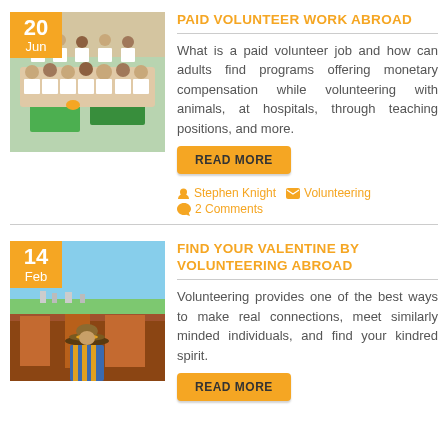[Figure (photo): Children in white shirts sitting in a classroom with green tables]
PAID VOLUNTEER WORK ABROAD
What is a paid volunteer job and how can adults find programs offering monetary compensation while volunteering with animals, at hospitals, through teaching positions, and more.
READ MORE
Stephen Knight   Volunteering   2 Comments
[Figure (photo): Person in traditional hat and clothing seated in a rocky landscape with green fields in background]
FIND YOUR VALENTINE BY VOLUNTEERING ABROAD
Volunteering provides one of the best ways to make real connections, meet similarly minded individuals, and find your kindred spirit.
READ MORE